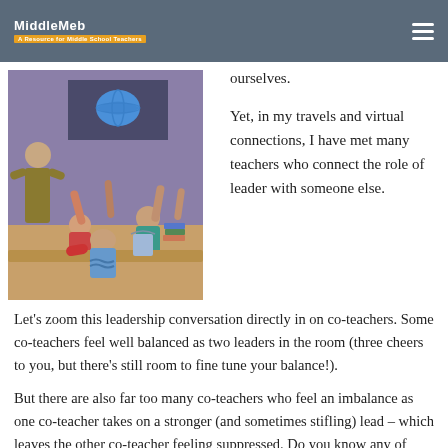MiddleMeb — [tagline obscured]
[Figure (illustration): Illustrated classroom scene showing a teacher at the front and multiple students raising their hands enthusiastically, with colorful cartoon-style art.]
ourselves.
Yet, in my travels and virtual connections, I have met many teachers who connect the role of leader with someone else.
Let's zoom this leadership conversation directly in on co-teachers. Some co-teachers feel well balanced as two leaders in the room (three cheers to you, but there's still room to fine tune your balance!).
But there are also far too many co-teachers who feel an imbalance as one co-teacher takes on a stronger (and sometimes stifling) lead – which leaves the other co-teacher feeling suppressed. Do you know any of these dominant co-teachers? It's pretty devastating when you think about it.